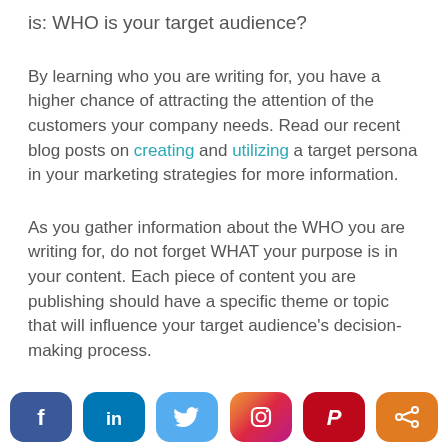is: WHO is your target audience?
By learning who you are writing for, you have a higher chance of attracting the attention of the customers your company needs. Read our recent blog posts on creating and utilizing a target persona in your marketing strategies for more information.
As you gather information about the WHO you are writing for, do not forget WHAT your purpose is in your content. Each piece of content you are publishing should have a specific theme or topic that will influence your target audience's decision-making process.
[Figure (infographic): Social media share buttons row: Facebook (dark blue rounded), LinkedIn (blue rounded), Twitter (light blue rounded), Instagram (gradient rounded), Pinterest (red rounded), Share (orange rounded)]